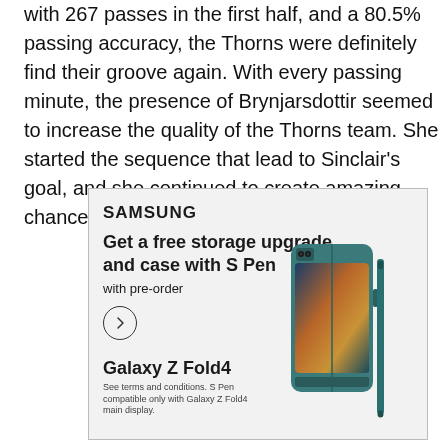with 267 passes in the first half, and a 80.5% passing accuracy, the Thorns were definitely find their groove again. With every passing minute, the presence of Brynjarsdottir seemed to increase the quality of the Thorns team. She started the sequence that lead to Sinclair's goal, and she continued to create amazing chances all half.
[Figure (illustration): Samsung advertisement for Galaxy Z Fold4. Text reads: SAMSUNG, Get a free storage upgrade and case with S Pen, with pre-order, a circle arrow button, Galaxy Z Fold4, See terms and conditions. S Pen compatible only with Galaxy Z Fold4 main display. Right side shows a teal/dark green Samsung Galaxy Z Fold4 phone folded, with an S Pen stylus.]